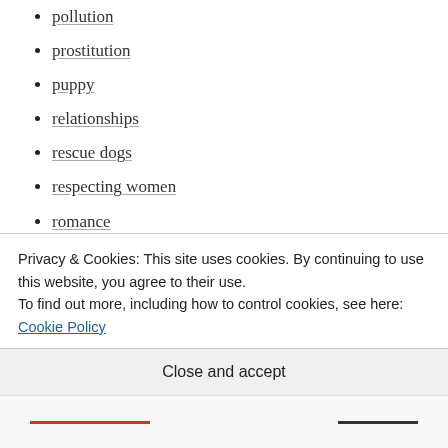pollution
prostitution
puppy
relationships
rescue dogs
respecting women
romance
sexual abuse
shameful
stray dog
stray dogs
strip clubs
Privacy & Cookies: This site uses cookies. By continuing to use this website, you agree to their use.
To find out more, including how to control cookies, see here: Cookie Policy
Close and accept